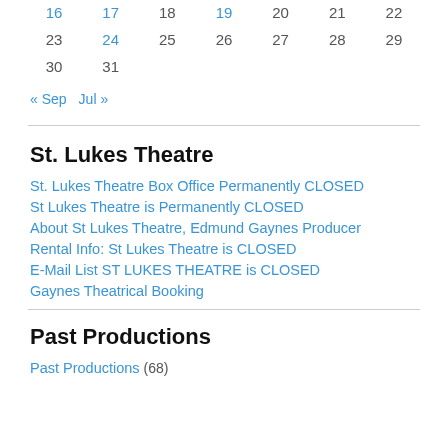| 16 | 17 | 18 | 19 | 20 | 21 | 22 |
| 23 | 24 | 25 | 26 | 27 | 28 | 29 |
| 30 | 31 |  |  |  |  |  |
« Sep   Jul »
St. Lukes Theatre
St. Lukes Theatre Box Office Permanently CLOSED
St Lukes Theatre is Permanently CLOSED
About St Lukes Theatre, Edmund Gaynes Producer
Rental Info: St Lukes Theatre is CLOSED
E-Mail List ST LUKES THEATRE is CLOSED
Gaynes Theatrical Booking
Past Productions
Past Productions (68)